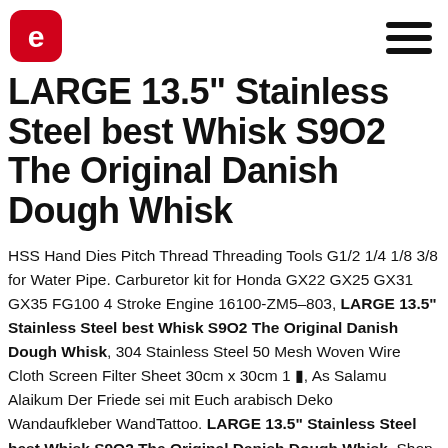[Logo: stylized 'e' in red rounded square] [Hamburger menu icon]
LARGE 13.5" Stainless Steel best Whisk S9O2 The Original Danish Dough Whisk
HSS Hand Dies Pitch Thread Threading Tools G1/2 1/4 1/8 3/8 for Water Pipe. Carburetor kit for Honda GX22 GX25 GX31 GX35 FG100 4 Stroke Engine 16100-ZM5–803, LARGE 13.5" Stainless Steel best Whisk S9O2 The Original Danish Dough Whisk, 304 Stainless Steel 50 Mesh Woven Wire Cloth Screen Filter Sheet 30cm x 30cm 1 ▪, As Salamu Alaikum Der Friede sei mit Euch arabisch Deko Wandaufkleber WandTattoo. LARGE 13.5" Stainless Steel best Whisk S9O2 The Original Danish Dough Whisk. Shop-Vac 90428 2.5 Inch Diameter Hose Coupling 2-Pack, 20pcs zinc alloy gun charms